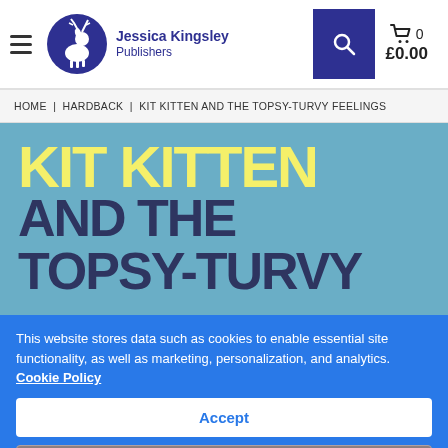Jessica Kingsley Publishers — header with logo, search, and cart (0 items, £0.00)
HOME | HARDBACK | KIT KITTEN AND THE TOPSY-TURVY FEELINGS
[Figure (illustration): Book cover image showing 'KIT KITTEN AND THE TOPSY-TURVY FEELINGS' title text on a light blue background, with yellow and dark blue bold text]
This website stores data such as cookies to enable essential site functionality, as well as marketing, personalization, and analytics. Cookie Policy
Accept
Deny